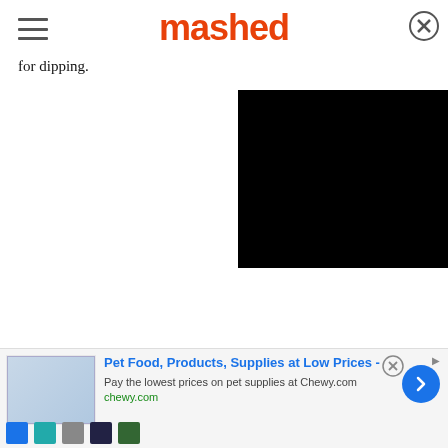mashed
for dipping.
[Figure (screenshot): Black video player rectangle]
Fava beans are a great source of fiber and protein...
[Figure (other): Advertisement banner: Pet Food, Products, Supplies at Low Prices - Pay the lowest prices on pet supplies at Chewy.com | chewy.com]